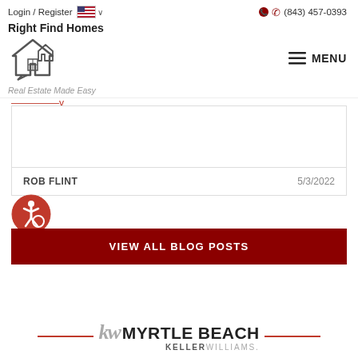Login / Register  (843) 457-0393  Right Find Homes  Real Estate Made Easy  MENU
[Figure (logo): Right Find Homes house logo with speech bubble outline]
ROB FLINT  5/3/2022
VIEW ALL BLOG POSTS
[Figure (logo): kw MYRTLE BEACH KELLERWILLIAMS. logo with red horizontal lines on either side]